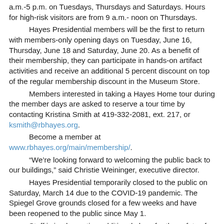The Hayes Home, Museum and research library will be open from 9 a.m.-5 p.m. on Tuesdays, Thursdays and Saturdays. Hours for high-risk visitors are from 9 a.m.- noon on Thursdays.
Hayes Presidential members will be the first to return with members-only opening days on Tuesday, June 16, Thursday, June 18 and Saturday, June 20. As a benefit of their membership, they can participate in hands-on artifact activities and receive an additional 5 percent discount on top of the regular membership discount in the Museum Store.
Members interested in taking a Hayes Home tour during the member days are asked to reserve a tour time by contacting Kristina Smith at 419-332-2081, ext. 217, or ksmith@rbhayes.org.
Become a member at www.rbhayes.org/main/membership/.
“We’re looking forward to welcoming the public back to our buildings,” said Christie Weininger, executive director.
Hayes Presidential temporarily closed to the public on Saturday, March 14 due to the COVID-19 pandemic. The Spiegel Grove grounds closed for a few weeks and have been reopened to the public since May 1.
Staff is implementing additional plans for the safety of visitors, including additional cleaning and disinfecting, instituting a smaller maximum capacity of people and physical distancing measures and installing sneeze guards at the front desk and Museum Store.
Staff will clean and disinfect the museum multiple times a day and will regularly wipe down counters and high-touch areas between points of sale at the Museum Store. Touchless hand sanitizer stations have been installed throughout the museum and library building.